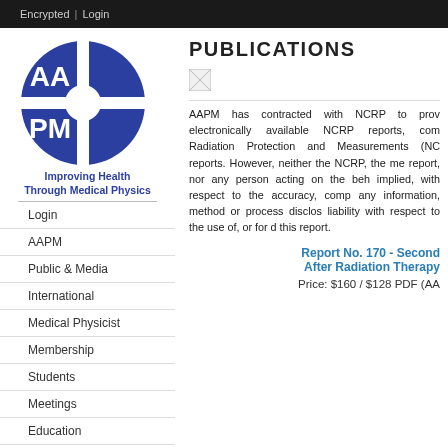Encrypted | Login
[Figure (logo): AAPM logo - blue circular emblem with AA and PM lettering]
Improving Health Through Medical Physics
Login
AAPM
Public & Media
International
Medical Physicist
Membership
Students
Meetings
Education
Quality & Safety
Government Affairs
PUBLICATIONS
[Figure (photo): Broken image placeholder icon]
AAPM has contracted with NCRP to prov electronically available NCRP reports, com Radiation Protection and Measurements (NC reports. However, neither the NCRP, the me report, nor any person acting on the beh implied, with respect to the accuracy, comp any information, method or process disclos liability with respect to the use of, or for d this report.
Report No. 170 - Second After Radiation Therapy
Price: $160 / $128 PDF (AA